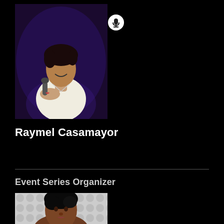[Figure (photo): A young man with dreadlocks wearing a white short-sleeve shirt, smiling and holding a microphone on stage with purple/blue stage lighting. A small circular microphone icon appears in the upper right area of the photo.]
Raymel Casamayor
Event Series Organizer
[Figure (photo): A Black woman with styled short dark hair, photographed from the shoulders up against a patterned black and white background.]